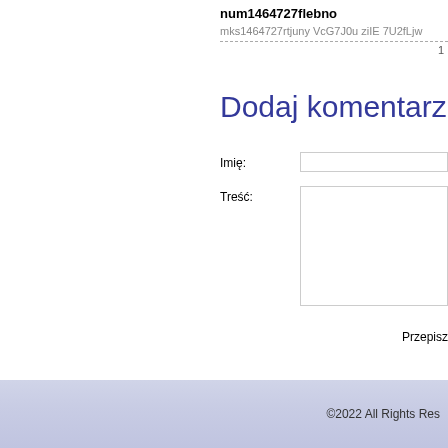num1464727flebno
mks1464727rtjuny VcG7J0u ziIE 7U2fLjw
1
Dodaj komentarz
Imię:
Treść:
Przepisz
©2022 All Rights Res